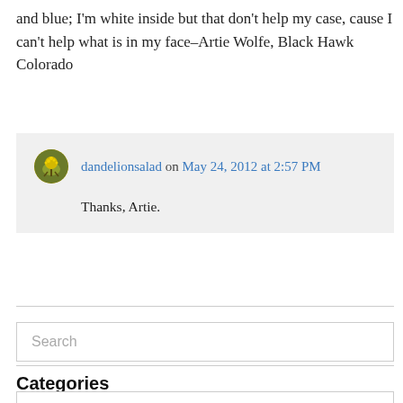and blue; I'm white inside but that don't help my case, cause I can't help what is in my face–Artie Wolfe, Black Hawk Colorado
dandelionsalad on May 24, 2012 at 2:57 PM
Thanks, Artie.
Search
Categories
Select Category